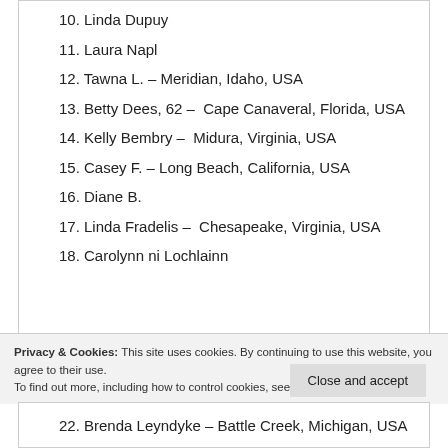10. Linda Dupuy
11. Laura Napl
12. Tawna L. – Meridian, Idaho, USA
13. Betty Dees, 62 – Cape Canaveral, Florida, USA
14. Kelly Bembry – Midura, Virginia, USA
15. Casey F. – Long Beach, California, USA
16. Diane B.
17. Linda Fradelis – Chesapeake, Virginia, USA
18. Carolynn ni Lochlainn
Privacy & Cookies: This site uses cookies. By continuing to use this website, you agree to their use.
To find out more, including how to control cookies, see here: Cookie Policy
22. Brenda Leyndyke – Battle Creek, Michigan, USA